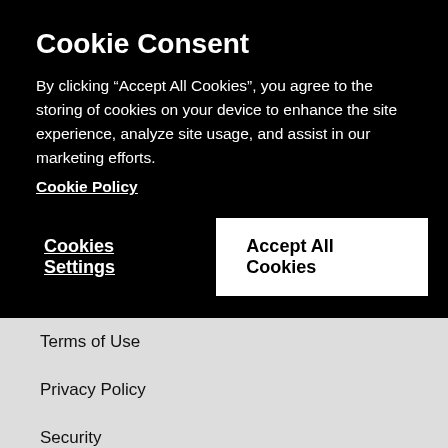Cookie Consent
By clicking “Accept All Cookies”, you agree to the storing of cookies on your device to enhance the site experience, analyze site usage, and assist in our marketing efforts. Cookie Policy
Terms of Use
Privacy Policy
Security
Cookies
Do Not Sell My Personal Information
Supported Browsers
Data Protection